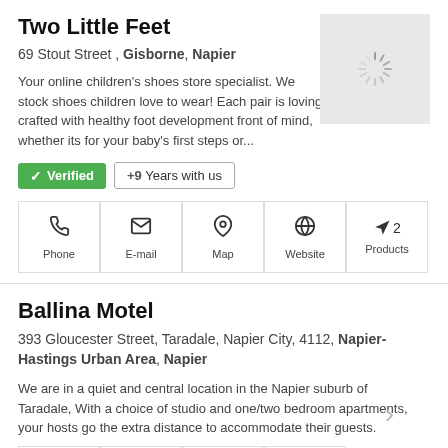Two Little Feet
69 Stout Street , Gisborne, Napier
Your online children's shoes store specialist. We stock shoes children love to wear! Each pair is loving crafted with healthy foot development front of mind, whether its for your baby's first steps or...
✓ Verified   +9 Years with us
[Figure (other): Loading spinner thumbnail image placeholder]
Phone  E-mail  Map  Website  2 Products
Ballina Motel
393 Gloucester Street, Taradale, Napier City, 4112, Napier-Hastings Urban Area, Napier
We are in a quiet and central location in the Napier suburb of Taradale, With a choice of studio and one/two bedroom apartments, your hosts go the extra distance to accommodate their guests.
Phone  E-mail  Map  Website